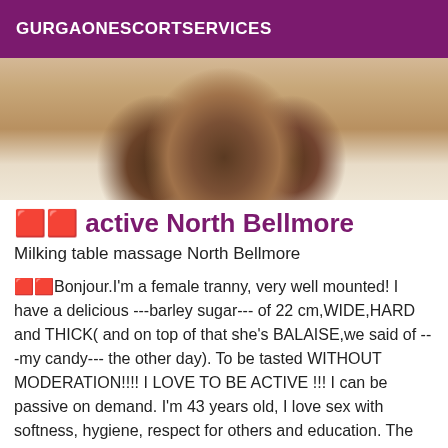GURGAONESCORTSERVICES
[Figure (photo): Cropped photo showing legs/lower body on a bed with light bedding]
🟥🟥 active North Bellmore
Milking table massage North Bellmore
🟥🟥Bonjour.I'm a female tranny, very well mounted! I have a delicious ---barley sugar--- of 22 cm,WIDE,HARD and THICK( and on top of that she's BALAISE,we said of ---my candy--- the other day). To be tasted WITHOUT MODERATION!!!! I LOVE TO BE ACTIVE !!! I can be passive on demand. I'm 43 years old, I love sex with softness, hygiene, respect for others and education. The welcome is warm, shower, towels and drinks offered. I am in North Bellmore. I ask you the kindness to take an appointment 1 hour in advance. See you soon to have a great time in the joy, good humor, cheerfulness and